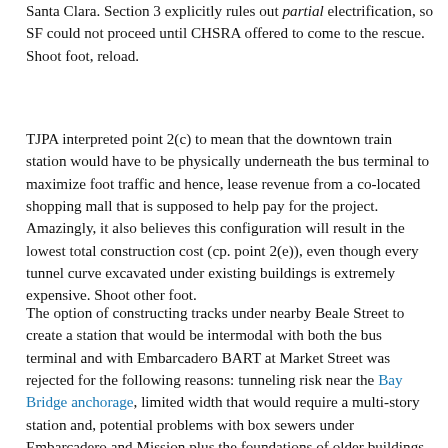Santa Clara. Section 3 explicitly rules out partial electrification, so SF could not proceed until CHSRA offered to come to the rescue. Shoot foot, reload.
TJPA interpreted point 2(c) to mean that the downtown train station would have to be physically underneath the bus terminal to maximize foot traffic and hence, lease revenue from a co-located shopping mall that is supposed to help pay for the project. Amazingly, it also believes this configuration will result in the lowest total construction cost (cp. point 2(e)), even though every tunnel curve excavated under existing buildings is extremely expensive. Shoot other foot.
The option of constructing tracks under nearby Beale Street to create a station that would be intermodal with both the bus terminal and with Embarcadero BART at Market Street was rejected for the following reasons: tunneling risk near the Bay Bridge anchorage, limited width that would require a multi-story station and, potential problems with box sewers under Embarcadero and Mission plus the foundations of older buildings between Market and Mission. There is also a desire to reserve Mission Street for a second BART line